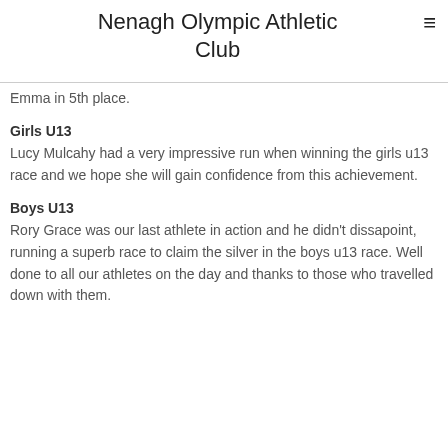Nenagh Olympic Athletic Club
Emma in 5th place.
Girls U13
Lucy Mulcahy had a very impressive run when winning the girls u13 race and we hope she will gain confidence from this achievement.
Boys U13
Rory Grace was our last athlete in action and he didn't dissapoint, running a superb race to claim the silver in the boys u13 race. Well done to all our athletes on the day and thanks to those who travelled down with them.